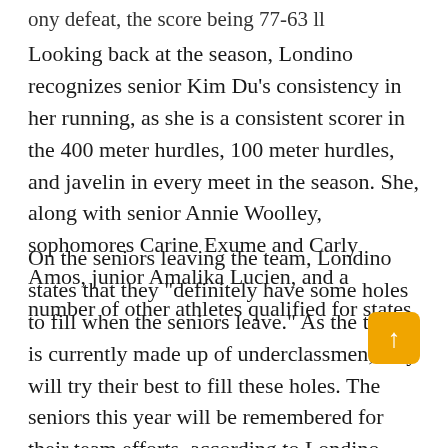ony defeat, the score being 77-63 ll
Looking back at the season, Londino recognizes senior Kim Du’s consistency in her running, as she is a consistent scorer in the 400 meter hurdles, 100 meter hurdles, and javelin in every meet in the season. She, along with senior Annie Woolley, sophomores Carine Exume and Carly Amos, junior Amalika Lucien, and a number of other athletes qualified for states.
On the seniors leaving the team, Londino states that they “definitely have some holes to fill when the seniors leave.” As the team is currently made up of underclassmen, they will try their best to fill these holes. The seniors this year will be remembered for their team efforts, according to Londino.